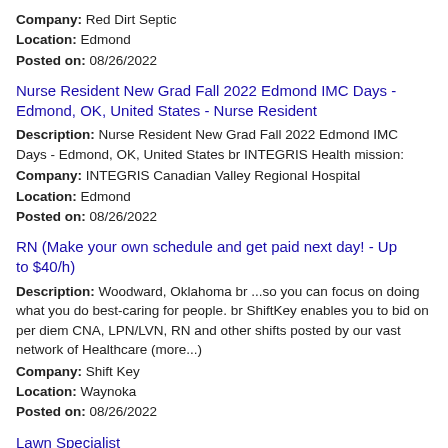Company: Red Dirt Septic
Location: Edmond
Posted on: 08/26/2022
Nurse Resident New Grad Fall 2022 Edmond IMC Days - Edmond, OK, United States - Nurse Resident
Description: Nurse Resident New Grad Fall 2022 Edmond IMC Days - Edmond, OK, United States br INTEGRIS Health mission:
Company: INTEGRIS Canadian Valley Regional Hospital
Location: Edmond
Posted on: 08/26/2022
RN (Make your own schedule and get paid next day! - Up to $40/h)
Description: Woodward, Oklahoma br ...so you can focus on doing what you do best-caring for people. br ShiftKey enables you to bid on per diem CNA, LPN/LVN, RN and other shifts posted by our vast network of Healthcare (more...)
Company: Shift Key
Location: Waynoka
Posted on: 08/26/2022
Lawn Specialist
Description: Salary: $14.00...